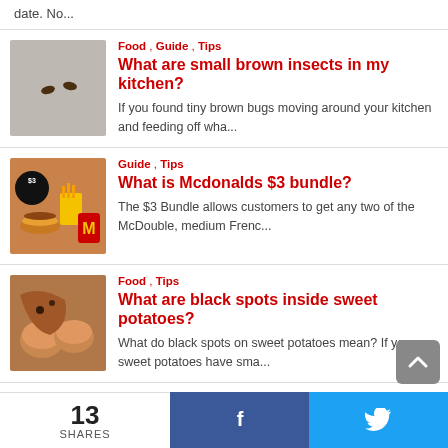date. No...
Food , Guide , Tips
What are small brown insects in my kitchen?
If you found tiny brown bugs moving around your kitchen and feeding off wha...
[Figure (photo): Close-up of two small brown insects on a light grey surface]
Guide , Tips
What is Mcdonalds $3 bundle?
The $3 Bundle allows customers to get any two of the McDouble, medium Frenc...
[Figure (photo): McDonald's $3 bundle promotional image showing burger, fries and drink]
Food , Tips
What are black spots inside sweet potatoes?
What do black spots on sweet potatoes mean? If your sweet potatoes have sma...
[Figure (photo): Cut sweet potatoes showing black spots inside]
13
SHARES